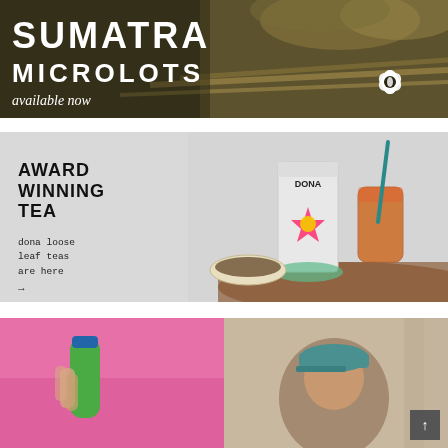[Figure (photo): Banner advertisement for Sumatra Microlots. Dark background with woven baskets and bamboo. White text reads SUMATRA MICROLOTS in large bold letters, with italic 'available now' below. White floral/coffee bean logo at bottom right.]
[Figure (photo): Advertisement for award winning tea. Light grey background with tea products on a wooden table — a cylindrical tea tin labeled DONA TEA, a bowl of loose leaf tea, and a glass of brewed tea with a straw. Left side has bold black text: AWARD WINNING TEA, with monospace smaller text: dona loose leaf teas are here, with an arrow.]
[Figure (photo): Bottom left panel showing a hand holding a green bottle against a pink fabric background.]
[Figure (photo): Bottom right panel showing a woman wearing a teal cap, looking upward, against a beige curtain background. A dark scroll-to-top button with upward arrow is in the bottom right corner.]